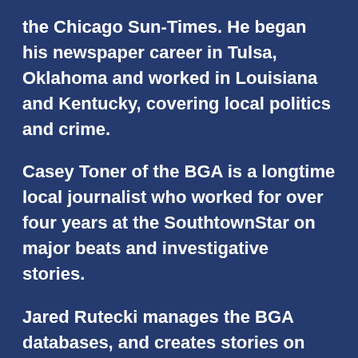the Chicago Sun-Times. He began his newspaper career in Tulsa, Oklahoma and worked in Louisiana and Kentucky, covering local politics and crime.
Casey Toner of the BGA is a longtime local journalist who worked for over four years at the SouthtownStar on major beats and investigative stories.
Jared Rutecki manages the BGA databases, and creates stories on state and local government matters, including pensions, payroll and public safety. He has sent more than 1,500 public-records requests a year